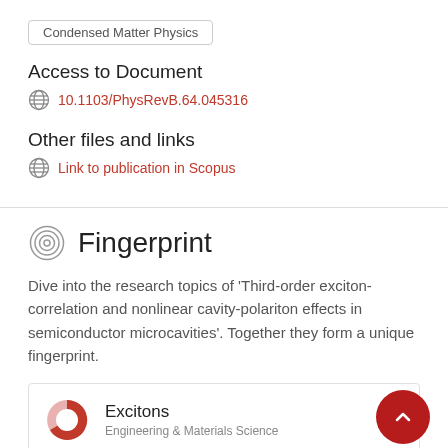Condensed Matter Physics
Access to Document
10.1103/PhysRevB.64.045316
Other files and links
Link to publication in Scopus
Fingerprint
Dive into the research topics of 'Third-order exciton-correlation and nonlinear cavity-polariton effects in semiconductor microcavities'. Together they form a unique fingerprint.
Excitons
Engineering & Materials Science